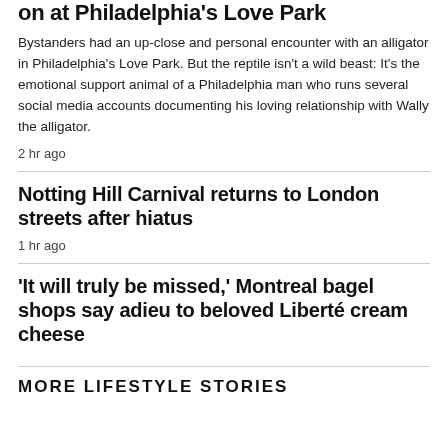on at Philadelphia's Love Park
Bystanders had an up-close and personal encounter with an alligator in Philadelphia's Love Park. But the reptile isn't a wild beast: It's the emotional support animal of a Philadelphia man who runs several social media accounts documenting his loving relationship with Wally the alligator.
2 hr ago
Notting Hill Carnival returns to London streets after hiatus
1 hr ago
'It will truly be missed,' Montreal bagel shops say adieu to beloved Liberté cream cheese
MORE LIFESTYLE STORIES